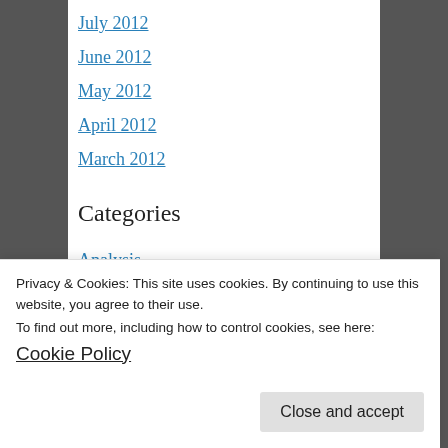July 2012
June 2012
May 2012
April 2012
March 2012
Categories
Analysis
Guest Posts
Interviews
Privacy & Cookies: This site uses cookies. By continuing to use this website, you agree to their use.
To find out more, including how to control cookies, see here: Cookie Policy
Close and accept